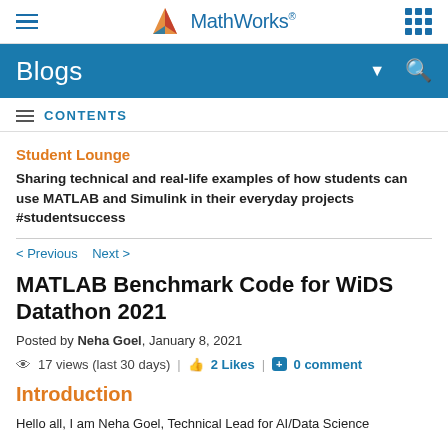MathWorks
Blogs
CONTENTS
Student Lounge
Sharing technical and real-life examples of how students can use MATLAB and Simulink in their everyday projects #studentsuccess
< Previous   Next >
MATLAB Benchmark Code for WiDS Datathon 2021
Posted by Neha Goel, January 8, 2021
17 views (last 30 days) | 2 Likes | 0 comment
Introduction
Hello all, I am Neha Goel, Technical Lead for AI/Data Science